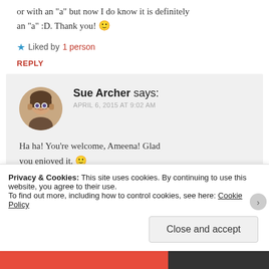or with an “a” but now I do know it is definitely an “a” :D. Thank you! 🙂
★ Liked by 1 person
REPLY
Sue Archer says: APRIL 6, 2015 AT 9:02 AM
Ha ha! You’re welcome, Ameena! Glad you enjoyed it. 🙂
★ Liked by 1 person
REPLY
Privacy & Cookies: This site uses cookies. By continuing to use this website, you agree to their use.
To find out more, including how to control cookies, see here: Cookie Policy
Close and accept